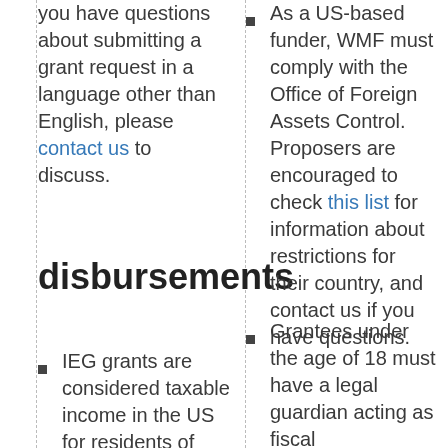you have questions about submitting a grant request in a language other than English, please contact us to discuss.
disbursements
IEG grants are considered taxable income in the US for residents of that country, and may be
As a US-based funder, WMF must comply with the Office of Foreign Assets Control. Proposers are encouraged to check this list for information about restrictions for their country, and contact us if you have questions.
Grantees under the age of 18 must have a legal guardian acting as fiscal